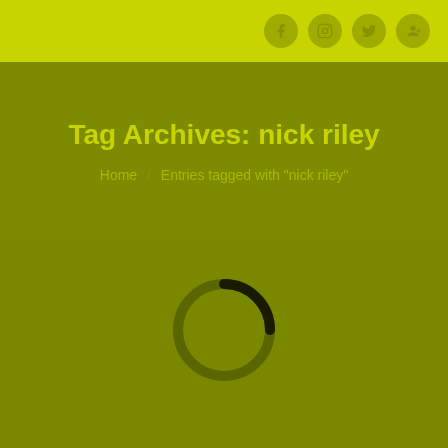Social icons: Facebook, Instagram, Twitter, Google+
Tag Archives: nick riley
Home / Entries tagged with "nick riley"
[Figure (other): Loading spinner circle, partially black arc on olive/yellow-green background]